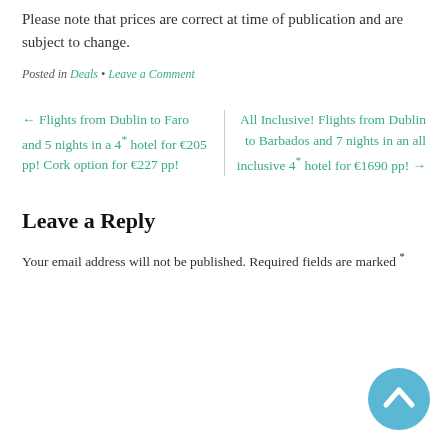Please note that prices are correct at time of publication and are subject to change.
Posted in Deals • Leave a Comment
← Flights from Dublin to Faro and 5 nights in a 4* hotel for €205 pp! Cork option for €227 pp!
All Inclusive! Flights from Dublin to Barbados and 7 nights in an all inclusive 4* hotel for €1690 pp! →
Leave a Reply
Your email address will not be published. Required fields are marked *
[Figure (other): Blue circular back-to-top button with upward chevron icon]